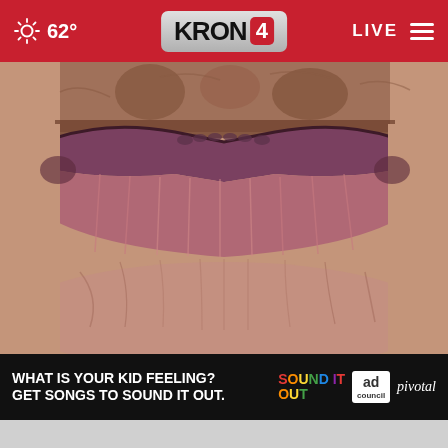62° KRON 4 LIVE
[Figure (photo): Close-up macro photograph of heavily wrinkled elderly lips and surrounding skin area]
Doctors Stunned: This Removes Wrinkles Like Crazy (Try Tonight)
Rejuvalift
[Figure (infographic): Ad banner: WHAT IS YOUR KID FEELING? GET SONGS TO SOUND IT OUT. Sound It Out logo, Ad Council logo, pivotal logo]